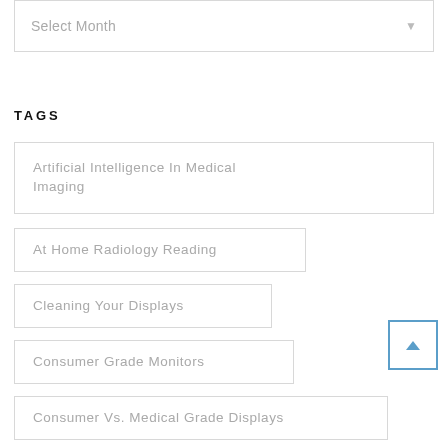Select Month
TAGS
Artificial Intelligence In Medical Imaging
At Home Radiology Reading
Cleaning Your Displays
Consumer Grade Monitors
Consumer Vs. Medical Grade Displays
COVID-19 Displays